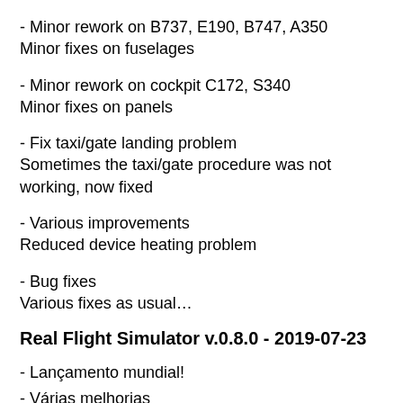- Minor rework on B737, E190, B747, A350
Minor fixes on fuselages
- Minor rework on cockpit C172, S340
Minor fixes on panels
- Fix taxi/gate landing problem
Sometimes the taxi/gate procedure was not working, now fixed
- Various improvements
Reduced device heating problem
- Bug fixes
Various fixes as usual…
Real Flight Simulator v.0.8.0 - 2019-07-23
- Lançamento mundial!
- Várias melhorias